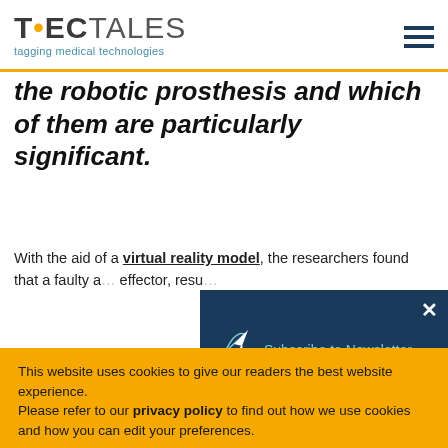TECTALES – tagging medical technologies
the robotic prosthesis and which of them are particularly significant.
With the aid of a virtual reality model, the researchers found that a faulty a… effector, resu…
[Figure (screenshot): Newsletter subscription overlay on dark blue background with paper plane icon and 'Subscribe to Newsletter' text, with close (X) button]
This website uses cookies to give our readers the best website experience.
Please refer to our privacy policy to find out how we use cookies and how you can edit your preferences.
Refuse cookies
Accept cookies